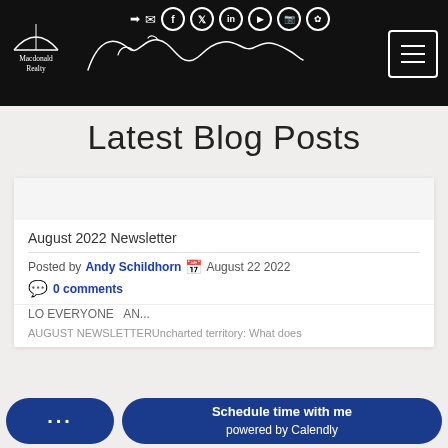Macdonald Realty — navigation header with logo, signature, social icons, and menu button
Latest Blog Posts
August 2022 Newsletter
Posted by Andy Schildhorn  August 22 2022
0 comments
HELLO EVERYONE  AN...
AUGUST NEWSLETTERUncharted territory: What does